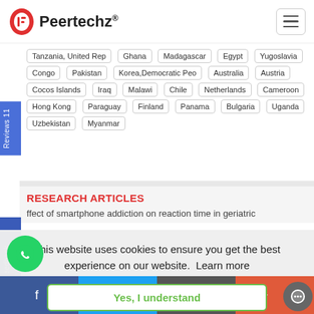Peertechz®
Tanzania, United Rep | Ghana | Madagascar | Egypt | Yugoslavia | Congo | Pakistan | Korea,Democratic Peo | Australia | Austria | Cocos Islands | Iraq | Malawi | Chile | Netherlands | Cameroon | Hong Kong | Paraguay | Finland | Panama | Bulgaria | Uganda | Uzbekistan | Myanmar
RESEARCH ARTICLES
ffect of smartphone addiction on reaction time in geriatric
This website uses cookies to ensure you get the best experience on our website. Learn more
Yes, I understand